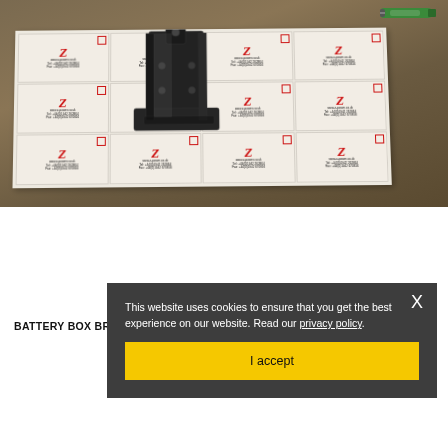[Figure (photo): Photo of a black metal battery box bracket part placed on top of a sheet of Z-Power branded paper with logos, on a wooden/stone surface. A green pen is visible in the top right corner.]
BATTERY BOX BRACKET - Z1000 1977-1980
£19.95
This website uses cookies to ensure that you get the best experience on our website. Read our privacy policy. I accept